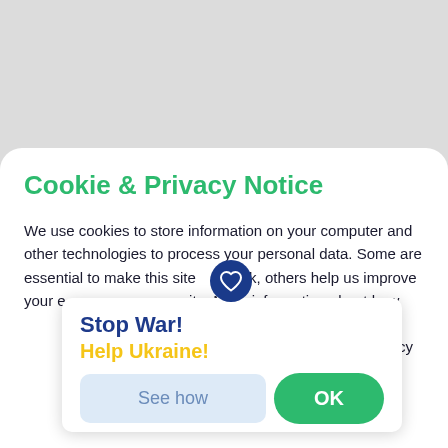Cookie & Privacy Notice
We use cookies to store information on your computer and other technologies to process your personal data. Some are essential to make this site work, others help us improve your e[xperience on our s]ite. More information about how [we use cookies is] available in our Privacy Policy and [Cookie Policy. By clicking] Accept, you agree to our Privacy [Policy.]
[Figure (illustration): Dark blue circular icon with a white heart outline inside]
Stop War!
Help Ukraine!
See how
OK